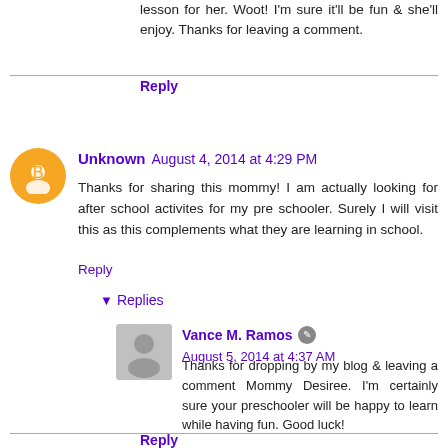lesson for her. Woot! I'm sure it'll be fun & she'll enjoy. Thanks for leaving a comment.
Reply
Unknown August 4, 2014 at 4:29 PM
Thanks for sharing this mommy! I am actually looking for after school activites for my pre schooler. Surely I will visit this as this complements what they are learning in school.
Reply
Replies
Vance M. Ramos August 5, 2014 at 4:37 AM
Thanks for dropping by my blog & leaving a comment Mommy Desiree. I'm certainly sure your preschooler will be happy to learn while having fun. Good luck!
Reply